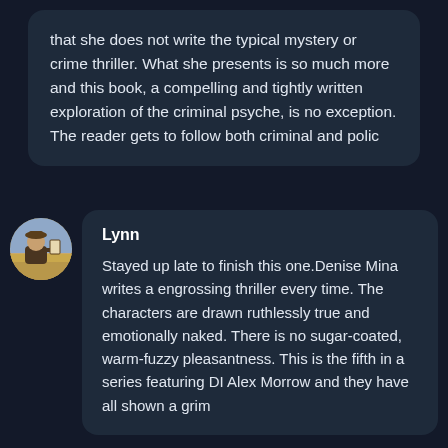that she does not write the typical mystery or crime thriller. What she presents is so much more and this book, a compelling and tightly written exploration of the criminal psyche, is no exception. The reader gets to follow both criminal and polic
Lynn
Stayed up late to finish this one.Denise Mina writes a engrossing thriller every time. The characters are drawn ruthlessly true and emotionally naked. There is no sugar-coated, warm-fuzzy pleasantness. This is the fifth in a series featuring DI Alex Morrow and they have all shown a grim